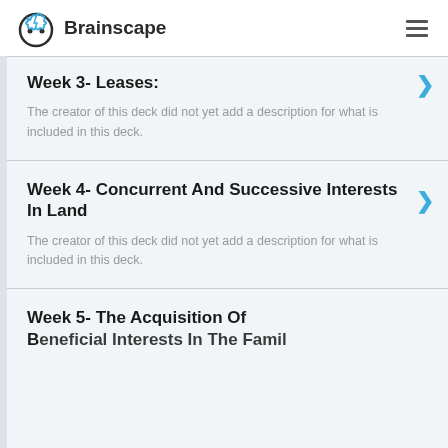Brainscape
Week 3- Leases:
The creator of this deck did not yet add a description for what is included in this deck.
Week 4- Concurrent And Successive Interests In Land
The creator of this deck did not yet add a description for what is included in this deck.
Week 5- The Acquisition Of Beneficial Interests In The Family